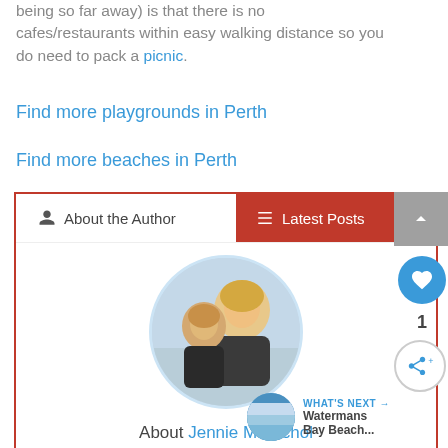being so far away) is that there is no cafes/restaurants within easy walking distance so you do need to pack a picnic.
Find more playgrounds in Perth
Find more beaches in Perth
About the Author | Latest Posts
[Figure (photo): Circular profile photo of Jennie McNichol with a young girl, both smiling, beach/outdoor setting]
About Jennie McNichol
Jennie McNichol is the Co-Founder and Editor of Buggabuddus. She moved to Perth
[Figure (photo): Small circular thumbnail of Watermans Bay Beach with WHAT'S NEXT label]